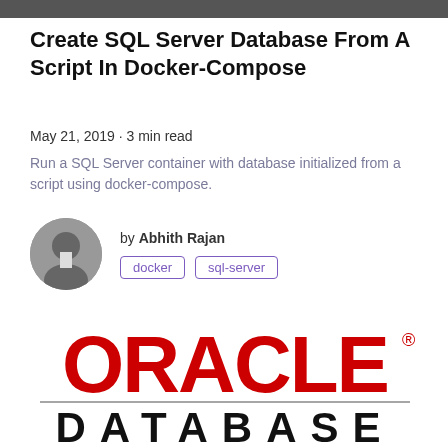Create SQL Server Database From A Script In Docker-Compose
May 21, 2019 · 3 min read
Run a SQL Server container with database initialized from a script using docker-compose.
by Abhith Rajan
docker  sql-server
[Figure (logo): Oracle Database logo — red ORACLE text with registered trademark symbol, horizontal rule, and bold black DATABASE text below]